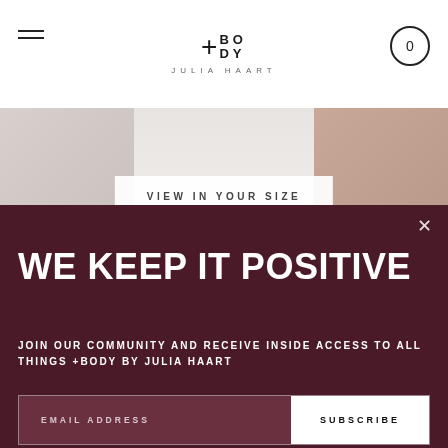+BODY JULIA HAART
[Figure (photo): Fashion/lingerie product hero image strip showing models, partially cropped, with a 'VIEW IN YOUR SIZE' button overlay]
VIEW IN YOUR SIZE
WE KEEP IT POSITIVE
JOIN OUR COMMUNITY AND RECEIVE INSIDE ACCESS TO ALL THINGS +BODY BY JULIA HAART
EMAIL ADDRESS
SUBSCRIBE